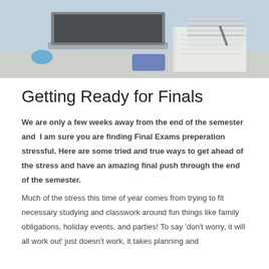[Figure (photo): Photo of a student studying at a desk with a laptop, notebook, and smartphone; person wearing a striped shirt, writing in notebook]
Getting Ready for Finals
We are only a few weeks away from the end of the semester and  I am sure you are finding Final Exams preperation stressful. Here are some tried and true ways to get ahead of the stress and have an amazing final push through the end of the semester.
Much of the stress this time of year comes from trying to fit necessary studying and classwork around fun things like family obligations, holiday events, and parties! To say 'don't worry, it will all work out' just doesn't work, it takes planning and